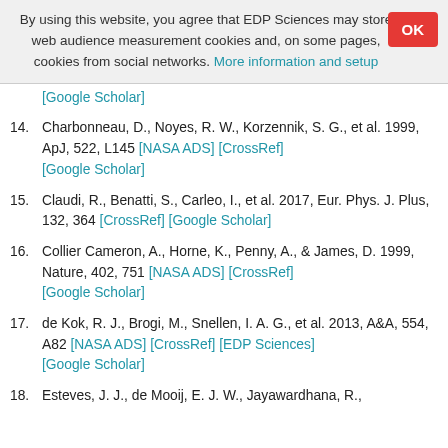By using this website, you agree that EDP Sciences may store web audience measurement cookies and, on some pages, cookies from social networks. More information and setup
14. Charbonneau, D., Noyes, R. W., Korzennik, S. G., et al. 1999, ApJ, 522, L145 [NASA ADS] [CrossRef] [Google Scholar]
15. Claudi, R., Benatti, S., Carleo, I., et al. 2017, Eur. Phys. J. Plus, 132, 364 [CrossRef] [Google Scholar]
16. Collier Cameron, A., Horne, K., Penny, A., & James, D. 1999, Nature, 402, 751 [NASA ADS] [CrossRef] [Google Scholar]
17. de Kok, R. J., Brogi, M., Snellen, I. A. G., et al. 2013, A&A, 554, A82 [NASA ADS] [CrossRef] [EDP Sciences] [Google Scholar]
18. Esteves, J. J., de Mooij, E. J. W., Jayawardhana, R.,